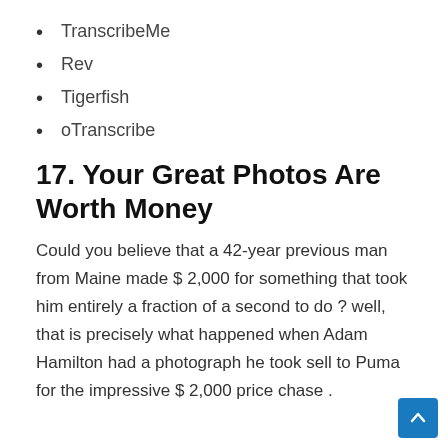TranscribeMe
Rev
Tigerfish
oTranscribe
17. Your Great Photos Are Worth Money
Could you believe that a 42-year previous man from Maine made $ 2,000 for something that took him entirely a fraction of a second to do ? well, that is precisely what happened when Adam Hamilton had a photograph he took sell to Puma for the impressive $ 2,000 price chase .